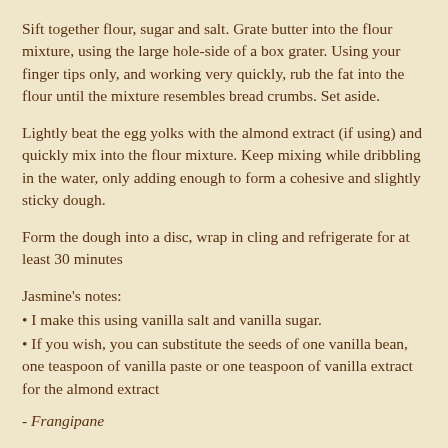Sift together flour, sugar and salt. Grate butter into the flour mixture, using the large hole-side of a box grater. Using your finger tips only, and working very quickly, rub the fat into the flour until the mixture resembles bread crumbs. Set aside.
Lightly beat the egg yolks with the almond extract (if using) and quickly mix into the flour mixture. Keep mixing while dribbling in the water, only adding enough to form a cohesive and slightly sticky dough.
Form the dough into a disc, wrap in cling and refrigerate for at least 30 minutes
Jasmine’s notes:
• I make this using vanilla salt and vanilla sugar.
• If you wish, you can substitute the seeds of one vanilla bean, one teaspoon of vanilla paste or one teaspoon of vanilla extract for the almond extract
- Frangipane
Prep time: 10-15 minutes